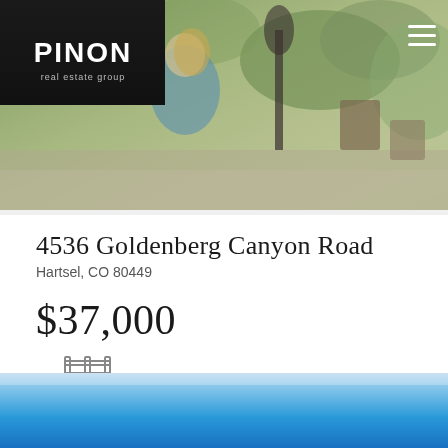[Figure (photo): Header photo of a garden scene with a woman planting, decorative metal sculpture, potted plants and greenery, with Pinon Real Estate Group logo overlaid on dark background in top left, and a hamburger menu icon in the top right]
4536 Goldenberg Canyon Road
Hartsel, CO 80449
$37,000
[Figure (illustration): Icon of a fence or acreage boundary marker (two vertical fence posts with horizontal rails)]
6.53
Acres
[Figure (photo): Bottom strip showing blue sky gradient]